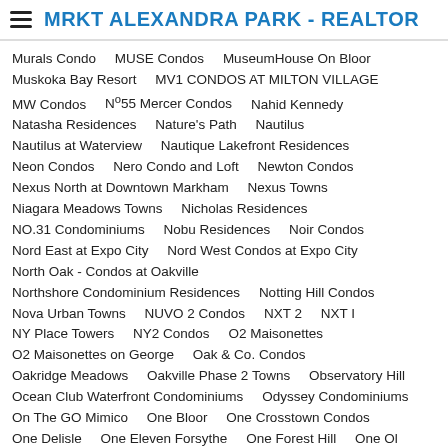MRKT ALEXANDRA PARK - REALTOR
Murals Condo
MUSE Condos
MuseumHouse On Bloor
Muskoka Bay Resort
MV1 CONDOS AT MILTON VILLAGE
MW Condos
Nº55 Mercer Condos
Nahid Kennedy
Natasha Residences
Nature's Path
Nautilus
Nautilus at Waterview
Nautique Lakefront Residences
Neon Condos
Nero Condo and Loft
Newton Condos
Nexus North at Downtown Markham
Nexus Towns
Niagara Meadows Towns
Nicholas Residences
NO.31 Condominiums
Nobu Residences
Noir Condos
Nord East at Expo City
Nord West Condos at Expo City
North Oak - Condos at Oakville
Northshore Condominium Residences
Notting Hill Condos
Nova Urban Towns
NUVO 2 Condos
NXT 2
NXT I
NY Place Towers
NY2 Condos
O2 Maisonettes
O2 Maisonettes on George
Oak & Co. Condos
Oakridge Meadows
Oakville Phase 2 Towns
Observatory Hill
Ocean Club Waterfront Condominiums
Odyssey Condominiums
On The GO Mimico
One Bloor
One Crosstown Condos
One Delisle
One Eleven Forsythe
One Forest Hill
One Ol...
One Park Place Condos
One Place Gardens
One Sherway Final Tower
One Sherway Tower 4
ONE URBA...
One Valhalla Towns and Condos
ONE28 Waterloo Condos